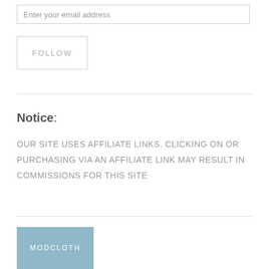Enter your email address
FOLLOW
Notice:
OUR SITE USES AFFILIATE LINKS. CLICKING ON OR PURCHASING VIA AN AFFILIATE LINK MAY RESULT IN COMMISSIONS FOR THIS SITE
[Figure (logo): MODCLOTH button with light blue background and white text]